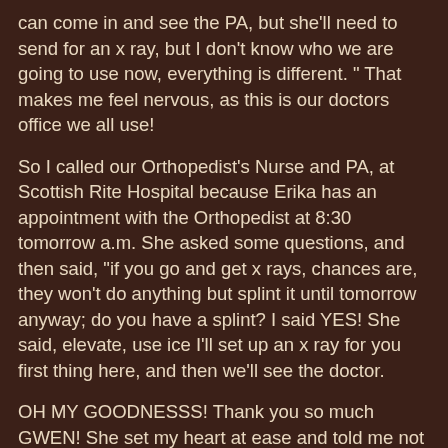can come in and see the PA, but she'll need to send for an x ray, but I don't know who we are going to use now, everything is different. " That makes me feel nervous, as this is our doctors office we all use!
So I called our Orthopedist's Nurse and PA, at Scottish Rite Hospital because Erika has an appointment with the Orthopedist at 8:30 tomorrow a.m. She asked some questions, and then said, "if you go and get x rays, chances are, they won't do anything but splint it until tomorrow anyway; do you have a splint? I said YES! She said, elevate, use ice I'll set up an x ray for you first thing here, and then we'll see the doctor.
OH MY GOODNESSS! Thank you so much GWEN! She set my heart at ease and told me not to worry. But I do worry. I feel like crying. I hate it when the kids get hurt. I hate it worse when I don' know what to do.
An emergency room visit would have been silly; as by the time we got out of the one we would have gone to, it would be time to see the doctor in a few more hours.